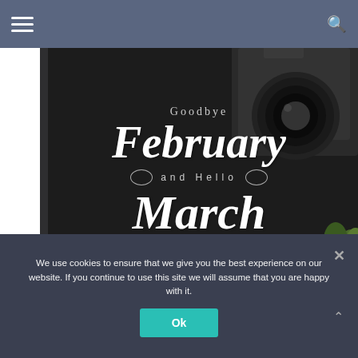Navigation bar with hamburger menu and search icon
[Figure (photo): Dark chalkboard background with a DSLR camera in top right corner and succulent plant in bottom right. Text overlay reads: Goodbye February and Hello March in stylized white script/handwriting font.]
We use cookies to ensure that we give you the best experience on our website. If you continue to use this site we will assume that you are happy with it.